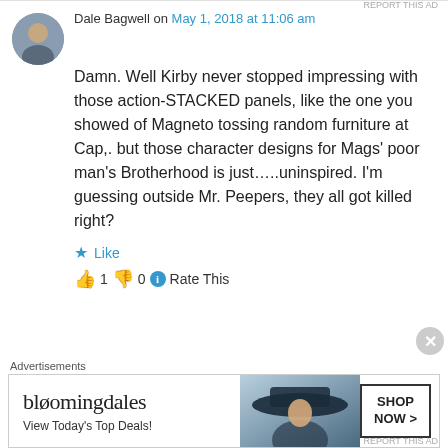Dale Bagwell on May 1, 2018 at 11:06 am
Damn. Well Kirby never stopped impressing with those action-STACKED panels, like the one you showed of Magneto tossing random furniture at Cap,. but those character designs for Mags' poor man's Brotherhood is just…..uninspired. I'm guessing outside Mr. Peepers, they all got killed right?
★ Like
👍 1 👎 0 ℹ Rate This
Advertisements
[Figure (other): Bloomingdale's advertisement banner with logo, tagline 'View Today's Top Deals!', model with wide-brim hat, and 'SHOP NOW >' button]